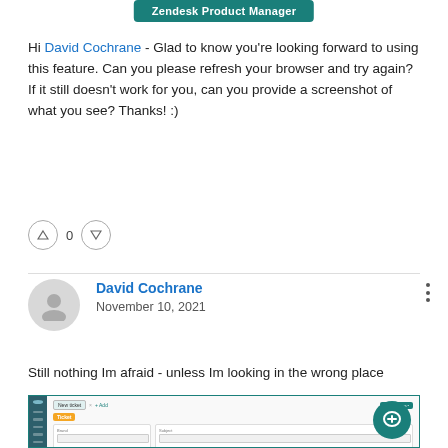[Figure (other): Zendesk Product Manager badge/button]
Hi David Cochrane - Glad to know you're looking forward to using this feature. Can you please refresh your browser and try again? If it still doesn't work for you, can you provide a screenshot of what you see? Thanks! :)
Vote controls: upvote, 0, downvote
David Cochrane
November 10, 2021
Still nothing Im afraid - unless Im looking in the wrong place
[Figure (screenshot): Screenshot of Zendesk ticket interface with sidebar and new ticket form]